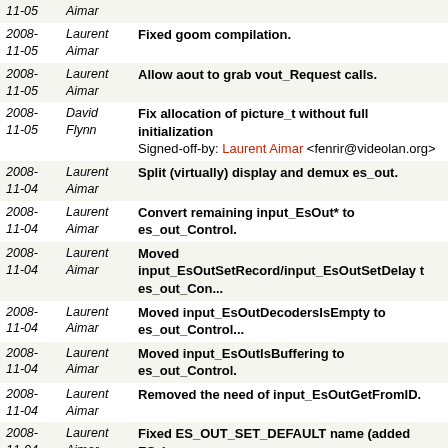| Date | Author | Message |
| --- | --- | --- |
| 2008-11-05 | Aimar |  |
| 2008-11-05 | Laurent Aimar | Fixed goom compilation. |
| 2008-11-05 | Laurent Aimar | Allow aout to grab vout_Request calls. |
| 2008-11-05 | David Flynn | Fix allocation of picture_t without full initialization
Signed-off-by: Laurent Aimar <fenrir@videolan.org> |
| 2008-11-04 | Laurent Aimar | Split (virtually) display and demux es_out. |
| 2008-11-04 | Laurent Aimar | Convert remaining input_EsOut* to es_out_Control. |
| 2008-11-04 | Laurent Aimar | Moved input_EsOutSetRecord/input_EsOutSetDelay to es_out_Con... |
| 2008-11-04 | Laurent Aimar | Moved input_EsOutDecodersIsEmpty to es_out_Control... |
| 2008-11-04 | Laurent Aimar | Moved input_EsOutIsBuffering to es_out_Control. |
| 2008-11-04 | Laurent Aimar | Removed the need of input_EsOutGetFromID. |
| 2008-11-04 | Laurent Aimar | Fixed ES_OUT_SET_DEFAULT name (added ES_). |
| 2008-11-04 | Laurent Aimar | Moved input_EsOutGetWakeup to es_out_Control. |
| 2008-11-04 | Laurent Aimar | Improved a bit es_out_t generalisation. |
| 2008-11-04 | Laurent Aimar | Cosmetics. |